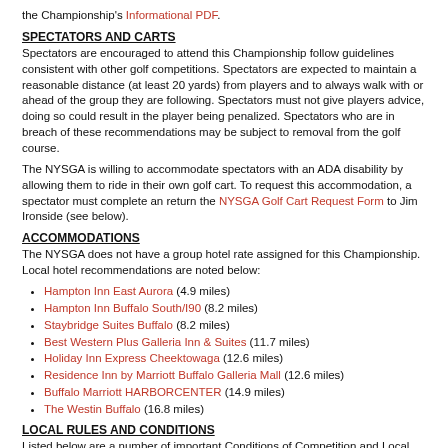the Championship's Informational PDF.
SPECTATORS AND CARTS
Spectators are encouraged to attend this Championship follow guidelines consistent with other golf competitions. Spectators are expected to maintain a reasonable distance (at least 20 yards) from players and to always walk with or ahead of the group they are following. Spectators must not give players advice, doing so could result in the player being penalized. Spectators who are in breach of these recommendations may be subject to removal from the golf course.
The NYSGA is willing to accommodate spectators with an ADA disability by allowing them to ride in their own golf cart. To request this accommodation, a spectator must complete an return the NYSGA Golf Cart Request Form to Jim Ironside (see below).
ACCOMMODATIONS
The NYSGA does not have a group hotel rate assigned for this Championship. Local hotel recommendations are noted below:
Hampton Inn East Aurora (4.9 miles)
Hampton Inn Buffalo South/I90 (8.2 miles)
Staybridge Suites Buffalo (8.2 miles)
Best Western Plus Galleria Inn & Suites (11.7 miles)
Holiday Inn Express Cheektowaga (12.6 miles)
Residence Inn by Marriott Buffalo Galleria Mall (12.6 miles)
Buffalo Marriott HARBORCENTER (14.9 miles)
The Westin Buffalo (16.8 miles)
LOCAL RULES AND CONDITIONS
Listed below are a number of important Conditions of Competition and Local Rules for this Championship.